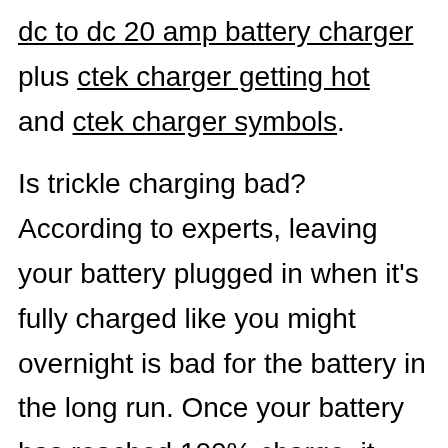dc to dc 20 amp battery charger plus ctek charger getting hot and ctek charger symbols.
Is trickle charging bad? According to experts, leaving your battery plugged in when it's fully charged like you might overnight is bad for the battery in the long run. Once your battery has reached 100% charge, it gets 'trickle charges'